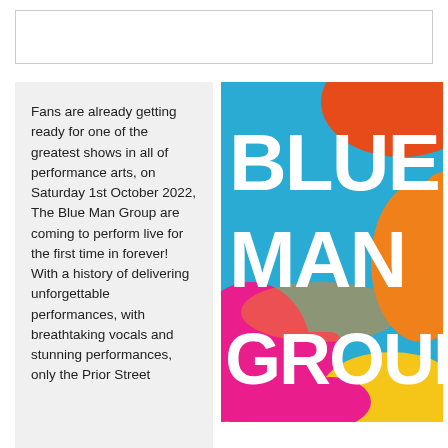[Figure (other): Empty white box at top of page, bordered rectangle]
Fans are already getting ready for one of the greatest shows in all of performance arts, on Saturday 1st October 2022, The Blue Man Group are coming to perform live for the first time in forever! With a history of delivering unforgettable performances, with breathtaking vocals and stunning performances, only the Prior Street...
[Figure (illustration): Blue Man Group colorful poster with large white bold text reading BLUE MAN GROUP on a colorful background of blue, orange, red, pink, yellow and magenta abstract shapes]